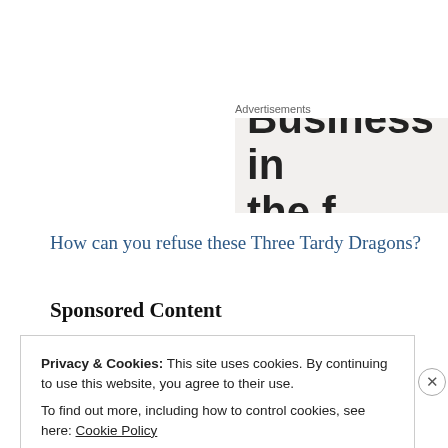Advertisements
[Figure (other): Advertisement banner showing partial text 'Business in' with more text below cut off, on a light grey background]
How can you refuse these Three Tardy Dragons?
Sponsored Content
Privacy & Cookies: This site uses cookies. By continuing to use this website, you agree to their use.
To find out more, including how to control cookies, see here: Cookie Policy
Close and accept